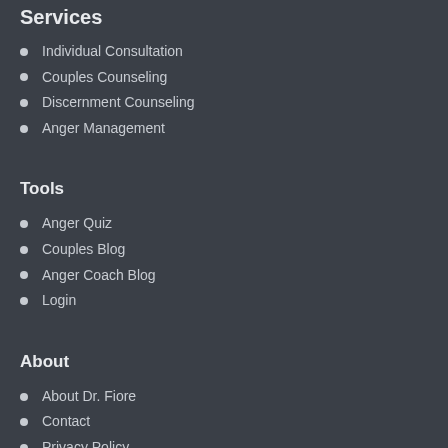Services
Individual Consultation
Couples Counseling
Discernment Counseling
Anger Management
Tools
Anger Quiz
Couples Blog
Anger Coach Blog
Login
About
About Dr. Fiore
Contact
Privacy Policy